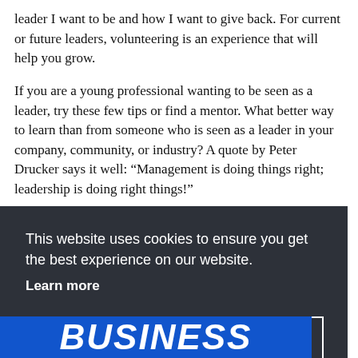leader I want to be and how I want to give back. For current or future leaders, volunteering is an experience that will help you grow.
If you are a young professional wanting to be seen as a leader, try these few tips or find a mentor. What better way to learn than from someone who is seen as a leader in your company, community, or industry? A quote by Peter Drucker says it well: “Management is doing things right; leadership is doing right things!”
This website uses cookies to ensure you get the best experience on our website. Learn more
Got it!